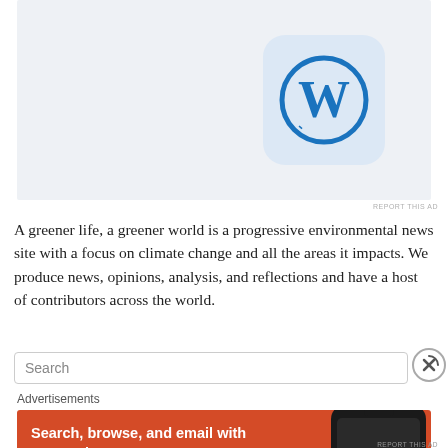[Figure (logo): WordPress logo — blue W letter inside a circle on a light blue rounded-square background, displayed on a light grey-blue advertisement block]
REPORT THIS AD
A greener life, a greener world is a progressive environmental news site with a focus on climate change and all the areas it impacts. We produce news, opinions, analysis, and reflections and have a host of contributors across the world.
[Figure (screenshot): Search bar input field with placeholder text 'Search' and a circular close button with an X on the right side]
Advertisements
[Figure (advertisement): DuckDuckGo advertisement on orange/red background: 'Search, browse, and email with more privacy. All in One Free App' with DuckDuckGo logo and smartphone image on the right]